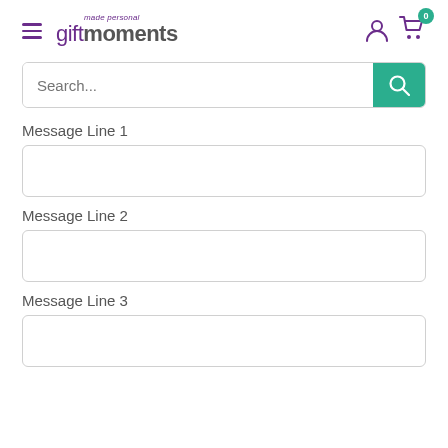gift moments made personal — navigation header with hamburger menu, logo, account icon, cart icon with badge 0
Search...
Message Line 1
Message Line 2
Message Line 3